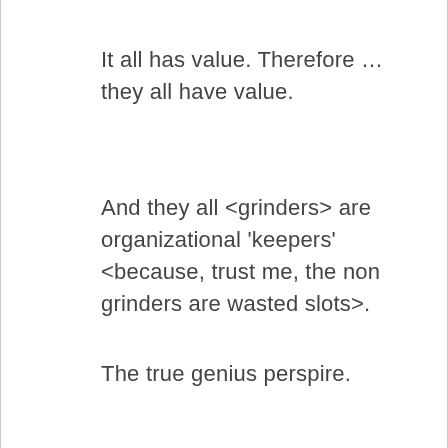It all has value. Therefore … they all have value.
And they all <grinders> are organizational 'keepers' <because, trust me, the non grinders are wasted slots>.
The true genius perspire.